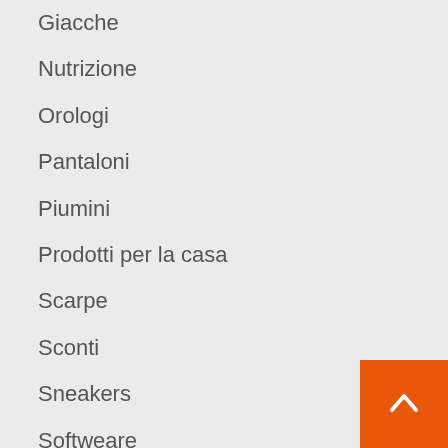Giacche
Nutrizione
Orologi
Pantaloni
Piumini
Prodotti per la casa
Scarpe
Sconti
Sneakers
Softweare
Sportswear
T-Shirt
Telefonia